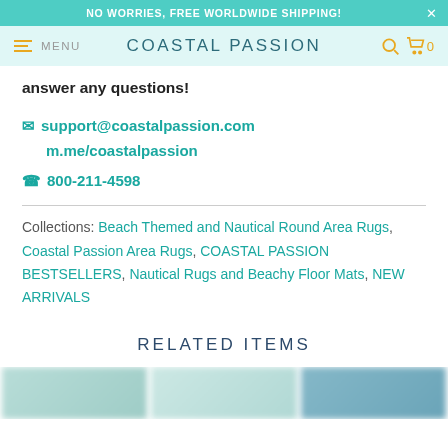NO WORRIES, FREE WORLDWIDE SHIPPING!
COASTAL PASSION
answer any questions!
✉ support@coastalpassion.com
m.me/coastalpassion
☎ 800-211-4598
Collections: Beach Themed and Nautical Round Area Rugs, Coastal Passion Area Rugs, COASTAL PASSION BESTSELLERS, Nautical Rugs and Beachy Floor Mats, NEW ARRIVALS
RELATED ITEMS
[Figure (photo): Blurred product preview images at bottom of page]